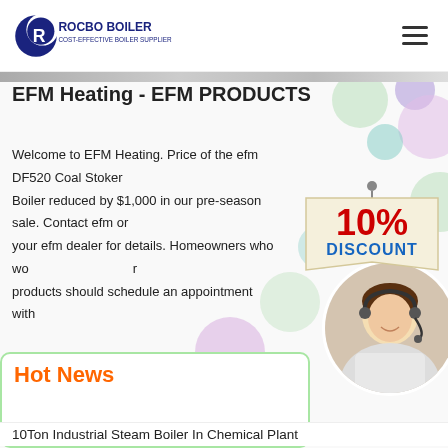ROCBO BOILER - COST-EFFECTIVE BOILER SUPPLIER
EFM Heating - EFM PRODUCTS
Welcome to EFM Heating. Price of the efm DF520 Coal Stoker Boiler reduced by $1,000 in our pre-season sale. Contact efm or your efm dealer for details. Homeowners who wo... products should schedule an appointment with...
[Figure (infographic): 10% DISCOUNT badge - red and blue text on beige/cream background with rope hanger graphic]
[Figure (photo): Customer service representative woman wearing headset, smiling, circular crop]
Hot News
10Ton Industrial Steam Boiler In Chemical Plant